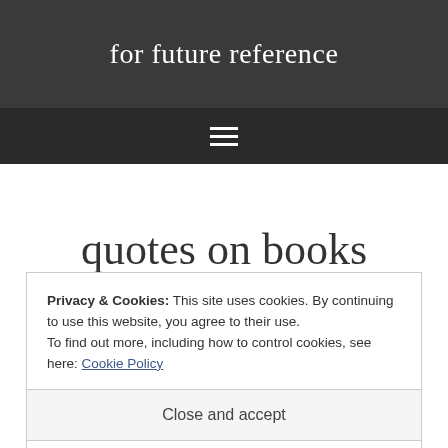for future reference
quotes on books
Privacy & Cookies: This site uses cookies. By continuing to use this website, you agree to their use.
To find out more, including how to control cookies, see here: Cookie Policy
Close and accept